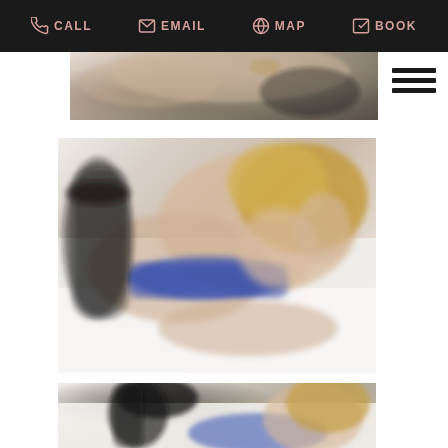CALL  EMAIL  MAP  BOOK
[Figure (photo): Partial view of a woman in black lingerie, cropped at top]
[Figure (photo): Woman with blonde hair in blue and black lingerie lying on white surface, smiling]
[Figure (photo): Woman with blonde hair in blue lingerie lying on white surface, wearing black high heels, partial view]